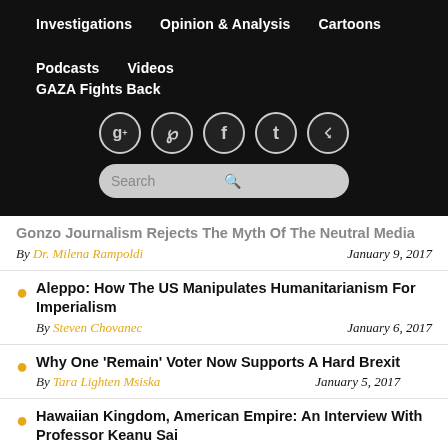Investigations   Opinion & Analysis   Cartoons   Podcasts   Videos   GAZA Fights Back
[Figure (other): Social media icons row: Google+, Pinterest, Facebook, Twitter, RSS feed - circular icons on dark background, plus a search bar]
Gonzo Journalism Rejects The Myth Of The Neutral Media — By Dr. Milena Rampoldi — January 9, 2017
Aleppo: How The US Manipulates Humanitarianism For Imperialism — By Steven Chovanec — January 6, 2017
Why One 'Remain' Voter Now Supports A Hard Brexit — By Tara Lighten Msiska — January 5, 2017
Hawaiian Kingdom, American Empire: An Interview With Professor Keanu Sai — By Dennis Riches — January 4, 2017